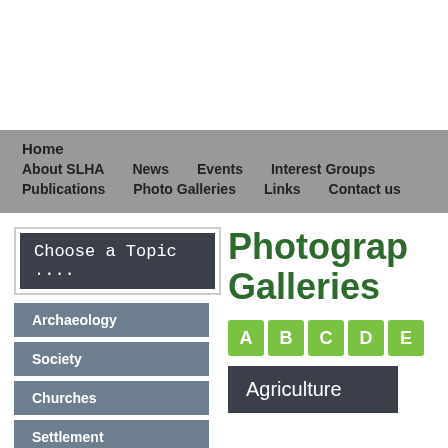Home | About SLHA | News | Events | Interest Groups | Publications | Photo Galleries | Links | Contact us
Photographic Galleries
Choose a Topic ....
Archaeology
Society
Churches
Settlement
A B C D E
Agriculture